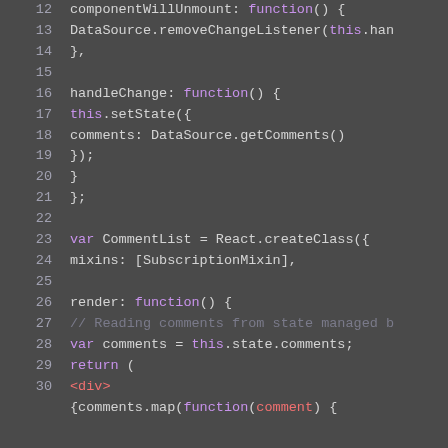[Figure (screenshot): Code editor screenshot showing JavaScript/React code lines 12-30, dark background with syntax highlighting. Shows componentWillUnmount, handleChange, and CommentList React class definitions with mixins and render function.]